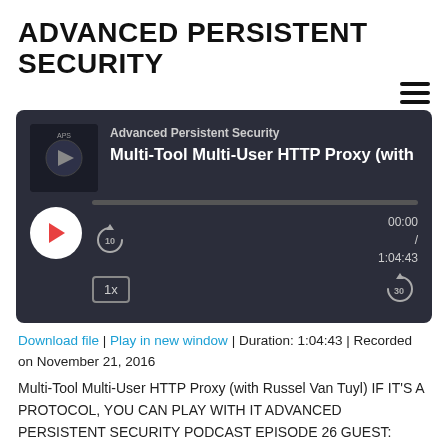ADVANCED PERSISTENT SECURITY
[Figure (screenshot): Podcast audio player widget with dark background showing episode 'Multi-Tool Multi-User HTTP Proxy (with Rus' by Advanced Persistent Security. Shows play button, progress bar at 00:00 / 1:04:43, skip back 10 and forward 30 controls, 1x speed button.]
Download file | Play in new window | Duration: 1:04:43 | Recorded on November 21, 2016
Multi-Tool Multi-User HTTP Proxy (with Russel Van Tuyl) IF IT'S A PROTOCOL, YOU CAN PLAY WITH IT ADVANCED PERSISTENT SECURITY PODCAST EPISODE 26 GUEST: Russel Van Tuyl NOVEMBER 21, 2016 If you ...